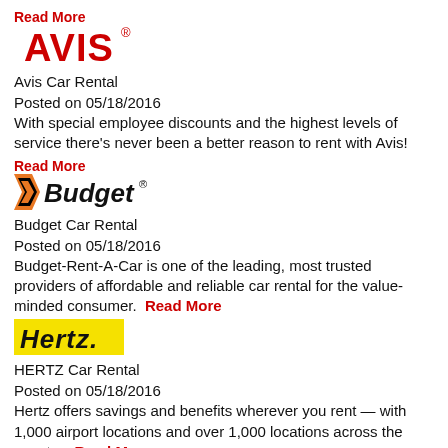Read More
[Figure (logo): Avis car rental logo in red bold text]
Avis Car Rental
Posted on 05/18/2016
With special employee discounts and the highest levels of service there's never been a better reason to rent with Avis!
Read More
[Figure (logo): Budget car rental logo with orange/black chevron and italic text]
Budget Car Rental
Posted on 05/18/2016
Budget-Rent-A-Car is one of the leading, most trusted providers of affordable and reliable car rental for the value-minded consumer. Read More
[Figure (logo): Hertz logo in yellow background with bold italic black text]
HERTZ Car Rental
Posted on 05/18/2016
Hertz offers savings and benefits wherever you rent — with 1,000 airport locations and over 1,000 locations across the country. Read More
[Figure (logo): Hotels.com logo with colorful H icon and red text]
HOTELS.COM
Posted on 05/18/2016
Hotels.com has over 145,000 hotels in more than 60 countries.